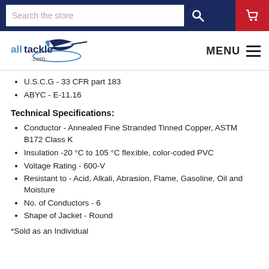Search the store
[Figure (logo): alltackle.com logo with marlin fish graphic and MENU navigation]
U.S.C.G - 33 CFR part 183
ABYC - E-11.16
Technical Specifications:
Conductor - Annealed Fine Stranded Tinned Copper, ASTM B172 Class K
Insulation -20 °C to 105 °C flexible, color-coded PVC
Voltage Rating - 600-V
Resistant to - Acid, Alkali, Abrasion, Flame, Gasoline, Oil and Moisture
No. of Conductors - 6
Shape of Jacket - Round
*Sold as an Individual